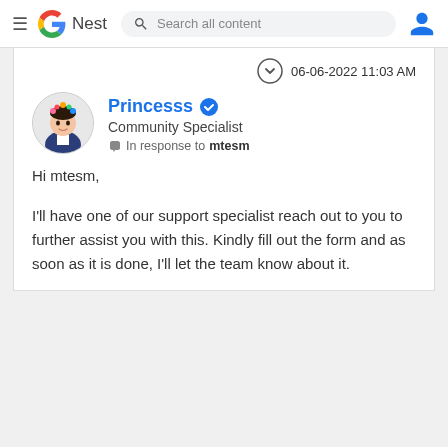Google Nest — Search all content
06-06-2022 11:03 AM
Princesss — Community Specialist — In response to mtesm
Hi mtesm,

I'll have one of our support specialist reach out to you to further assist you with this. Kindly fill out the form and as soon as it is done, I'll let the team know about it.